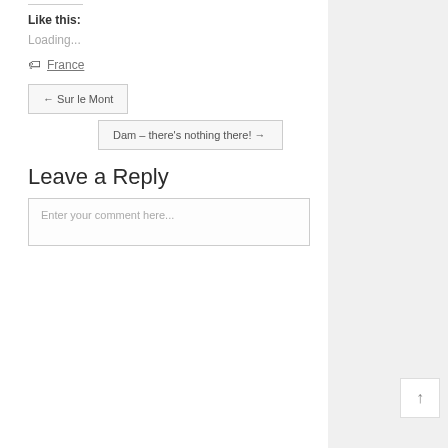Like this:
Loading...
France
← Sur le Mont
Dam – there's nothing there! →
Leave a Reply
Enter your comment here...